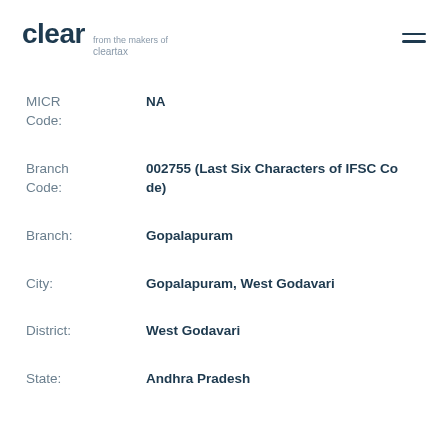clear from the makers of cleartax
MICR Code: NA
Branch Code: 002755 (Last Six Characters of IFSC Code)
Branch: Gopalapuram
City: Gopalapuram, West Godavari
District: West Godavari
State: Andhra Pradesh